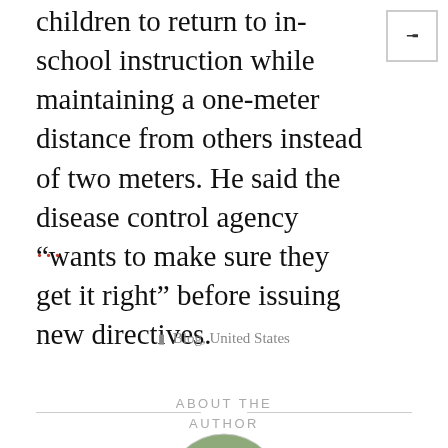children to return to in-school instruction while maintaining a one-meter distance from others instead of two meters. He said the disease control agency “wants to make sure they get it right” before issuing new directives.
...
Blog, United States
ABOUT THE AUTHOR
[Figure (illustration): Circular avatar image of a cartoon pizza slice wearing sunglasses on a light green background]